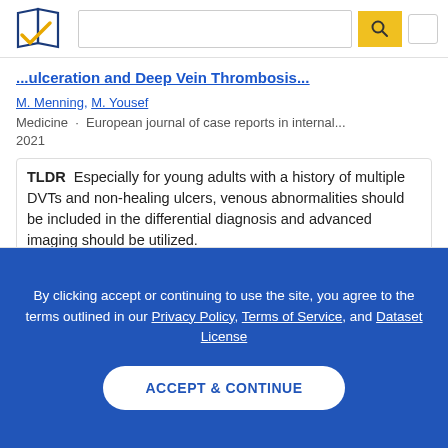[Figure (logo): Semantic Scholar logo — stylized book pages with blue and gold check mark]
...ulceration and Deep Vein Thrombosis...
M. Menning, M. Yousef
Medicine · European journal of case reports in internal... 2021
TLDR Especially for young adults with a history of multiple DVTs and non-healing ulcers, venous abnormalities should be included in the differential diagnosis and advanced imaging should be utilized.
Expand
By clicking accept or continuing to use the site, you agree to the terms outlined in our Privacy Policy, Terms of Service, and Dataset License
ACCEPT & CONTINUE